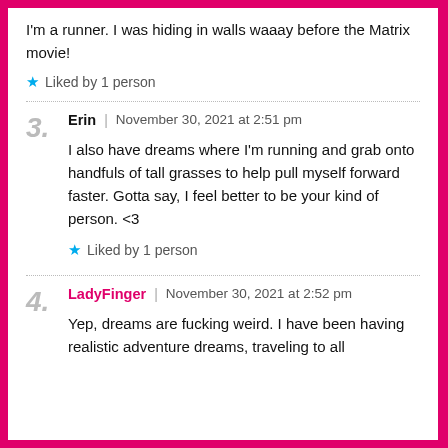I'm a runner. I was hiding in walls waaay before the Matrix movie!
★ Liked by 1 person
3. Erin | November 30, 2021 at 2:51 pm
I also have dreams where I'm running and grab onto handfuls of tall grasses to help pull myself forward faster. Gotta say, I feel better to be your kind of person. <3
★ Liked by 1 person
4. LadyFinger | November 30, 2021 at 2:52 pm
Yep, dreams are fucking weird. I have been having realistic adventure dreams, traveling to all